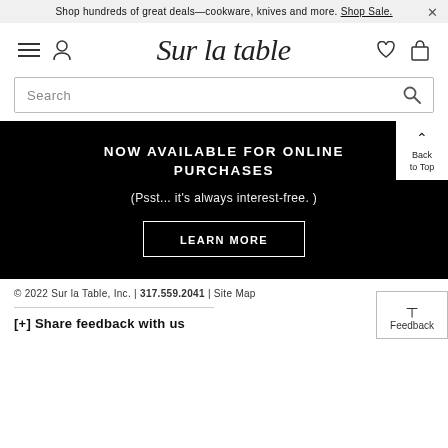Shop hundreds of great deals—cookware, knives and more. Shop Sale.
[Figure (logo): Sur la table script logo with hamburger menu, user icon, heart, and bag icons]
Search
NOW AVAILABLE FOR ONLINE PURCHASES
(Psst... it's always interest-free.)
LEARN MORE
© 2022 Sur la Table, Inc. | 317.559.2041 | Site Map
[+] Share feedback with us